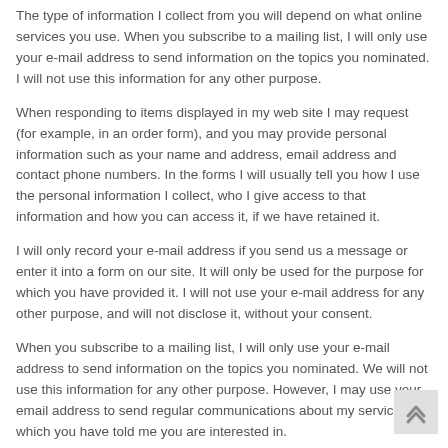The type of information I collect from you will depend on what online services you use. When you subscribe to a mailing list, I will only use your e-mail address to send information on the topics you nominated. I will not use this information for any other purpose.
When responding to items displayed in my web site I may request (for example, in an order form), and you may provide personal information such as your name and address, email address and contact phone numbers. In the forms I will usually tell you how I use the personal information I collect, who I give access to that information and how you can access it, if we have retained it.
I will only record your e-mail address if you send us a message or enter it into a form on our site. It will only be used for the purpose for which you have provided it. I will not use your e-mail address for any other purpose, and will not disclose it, without your consent.
When you subscribe to a mailing list, I will only use your e-mail address to send information on the topics you nominated. We will not use this information for any other purpose. However, I may use your email address to send regular communications about my services which you have told me you are interested in.
Permission to contact you